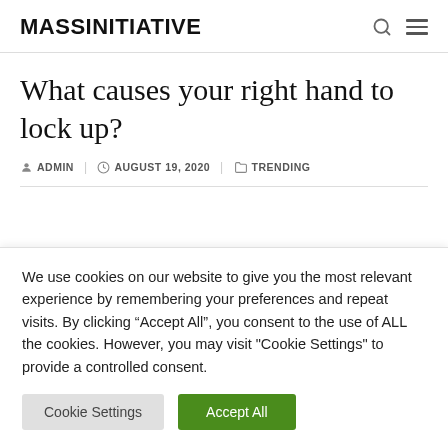MASSINITIATIVE
What causes your right hand to lock up?
ADMIN   AUGUST 19, 2020   TRENDING
We use cookies on our website to give you the most relevant experience by remembering your preferences and repeat visits. By clicking “Accept All”, you consent to the use of ALL the cookies. However, you may visit "Cookie Settings" to provide a controlled consent.